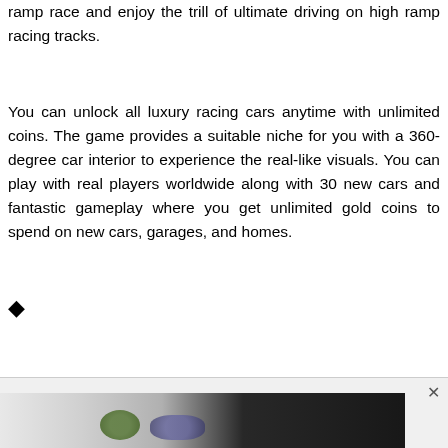ramp race and enjoy the trill of ultimate driving on high ramp racing tracks.
You can unlock all luxury racing cars anytime with unlimited coins. The game provides a suitable niche for you with a 360-degree car interior to experience the real-like visuals. You can play with real players worldwide along with 30 new cars and fantastic gameplay where you get unlimited gold coins to spend on new cars, garages, and homes.
[Figure (other): Diamond/rotated square icon bullet point]
[Figure (screenshot): Advertisement banner showing a partial image strip at the bottom of the page with a close (x) button]